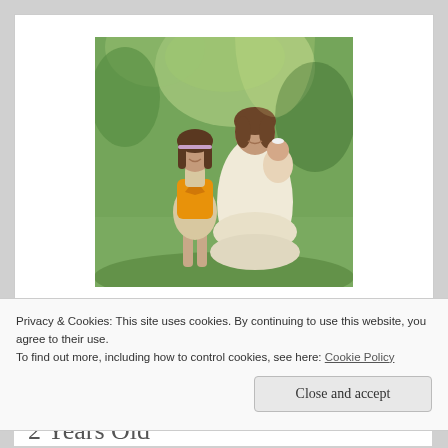[Figure (photo): A woman in a white dress holding a baby, standing next to a girl in an orange cardigan and floral dress, outdoors in a green wooded setting.]
Angel Wheeler
Privacy & Cookies: This site uses cookies. By continuing to use this website, you agree to their use.
To find out more, including how to control cookies, see here: Cookie Policy
Close and accept
2 Years Old